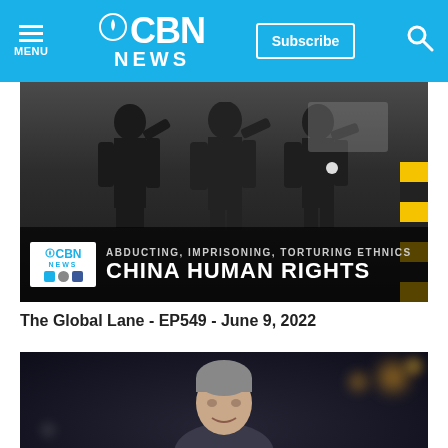CBN NEWS — Navigation bar with menu, subscribe, and search
[Figure (screenshot): Video thumbnail showing uniformed police officers wearing masks and saluting, with overlay text: ABDUCTING, IMPRISONING, TORTURING ETHNICS / CHINA HUMAN RIGHTS, with CBN News logo]
The Global Lane - EP549 - June 9, 2022
[Figure (photo): Photo of a man with gray hair against a bokeh night city background]